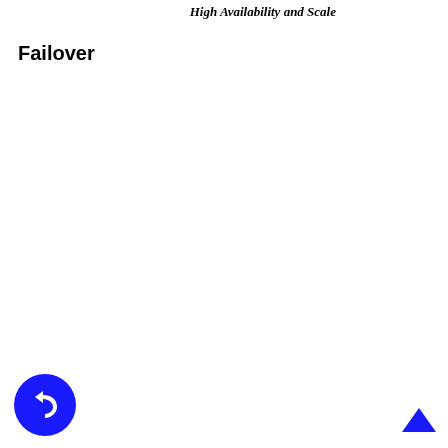High Availability and Scale
Failover
[Figure (other): Blue circular button with a forward/reply arrow icon (navigation UI element) in the bottom-left corner]
[Figure (other): Blue upward-pointing caret/chevron icon (scroll-to-top UI element) in the bottom-right corner]